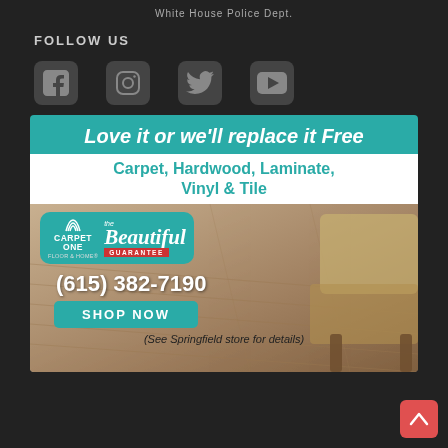White House Police Dept.
FOLLOW US
[Figure (other): Social media icons: Facebook, Instagram, Twitter, YouTube]
[Figure (infographic): Carpet One Floor & Home advertisement banner. Teal header: 'Love it or we'll replace it Free'. White bar: 'Carpet, Hardwood, Laminate, Vinyl & Tile'. Bottom section with Carpet One logo, Beautiful Guarantee badge, phone number (615) 382-7190, SHOP NOW button, and text '(See Springfield store for details)'.]